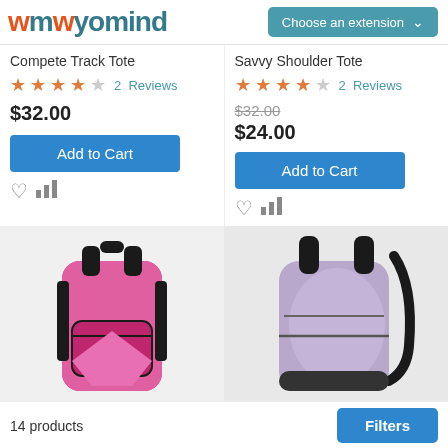wmwyomind | Choose an extension
Compete Track Tote
★★★★☆ 2 Reviews
$32.00
Add to Cart
Savvy Shoulder Tote
★★★★☆ 2 Reviews
$32.00 (was), $24.00
Add to Cart
[Figure (photo): Pink and black backpack product image]
[Figure (photo): Purple and black backpack product image]
14 products
Filters